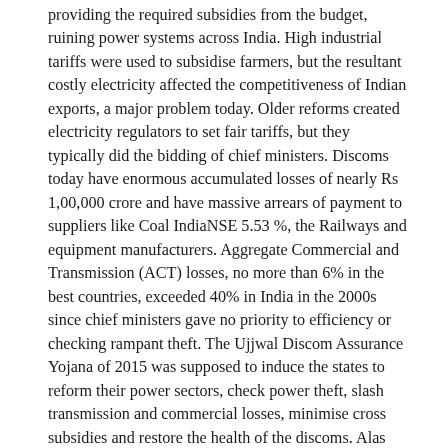providing the required subsidies from the budget, ruining power systems across India. High industrial tariffs were used to subsidise farmers, but the resultant costly electricity affected the competitiveness of Indian exports, a major problem today. Older reforms created electricity regulators to set fair tariffs, but they typically did the bidding of chief ministers. Discoms today have enormous accumulated losses of nearly Rs 1,00,000 crore and have massive arrears of payment to suppliers like Coal IndiaNSE 5.53 %, the Railways and equipment manufacturers. Aggregate Commercial and Transmission (ACT) losses, no more than 6% in the best countries, exceeded 40% in India in the 2000s since chief ministers gave no priority to efficiency or checking rampant theft. The Ujjwal Discom Assurance Yojana of 2015 was supposed to induce the states to reform their power sectors, check power theft, slash transmission and commercial losses, minimise cross subsidies and restore the health of the discoms. Alas this did not happen. Now, Modi's Rs 20-trillion package allows the states additional borrowing of 2% of GDP, subject to reforms of various sectors including power. To qualify, states must select transmission and generation developers by competitive tender to cut corruption and cronyism; privatise power distribution; improve billing and collection; and check theft. ACT losses are down from a peak of 40% to 18% but must be slashed below 10%. Modi's Saubhagya scheme